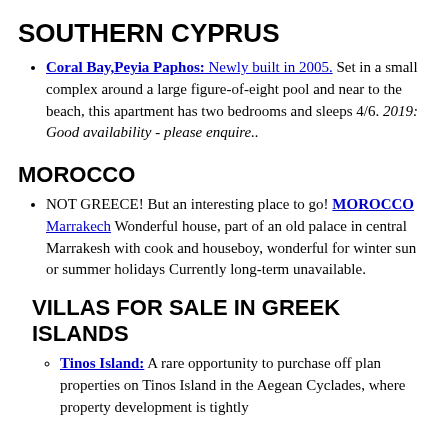SOUTHERN CYPRUS
Coral Bay,Peyia Paphos: Newly built in 2005. Set in a small complex around a large figure-of-eight pool and near to the beach, this apartment has two bedrooms and sleeps 4/6. 2019: Good availability - please enquire..
MOROCCO
NOT GREECE! But an interesting place to go! MOROCCO Marrakech Wonderful house, part of an old palace in central Marrakesh with cook and houseboy, wonderful for winter sun or summer holidays Currently long-term unavailable.
VILLAS FOR SALE IN GREEK ISLANDS
Tinos Island: A rare opportunity to purchase off plan properties on Tinos Island in the Aegean Cyclades, where property development is tightly controlled. Built to the very highest standard in th